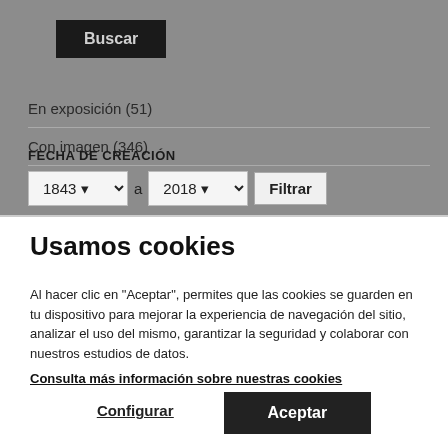Buscar
En exposición (51)
Con imagen (346)
FECHA DE CREACIÓN
1843 a 2018 Filtrar
Usamos cookies
Al hacer clic en "Aceptar", permites que las cookies se guarden en tu dispositivo para mejorar la experiencia de navegación del sitio, analizar el uso del mismo, garantizar la seguridad y colaborar con nuestros estudios de datos. Consulta más información sobre nuestras cookies
Configurar
Aceptar